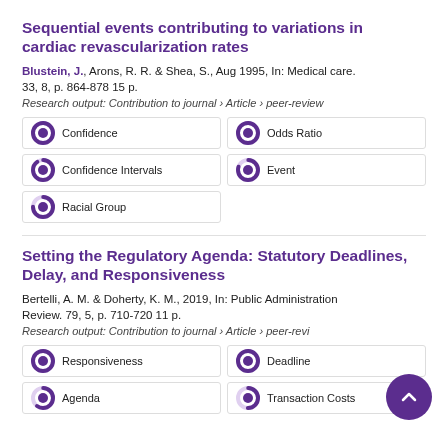Sequential events contributing to variations in cardiac revascularization rates
Blustein, J., Arons, R. R. & Shea, S., Aug 1995, In: Medical care. 33, 8, p. 864-878 15 p.
Research output: Contribution to journal › Article › peer-review
[Figure (infographic): Five keyword badges with donut/pie progress icons: Confidence (100%), Odds Ratio (100%), Confidence Intervals (90%), Event (80%), Racial Group (75%)]
Setting the Regulatory Agenda: Statutory Deadlines, Delay, and Responsiveness
Bertelli, A. M. & Doherty, K. M., 2019, In: Public Administration Review. 79, 5, p. 710-720 11 p.
Research output: Contribution to journal › Article › peer-review
[Figure (infographic): Keyword badges with donut icons: Responsiveness (100%), Deadline (100%), Agenda (60%), Transaction Costs (50%)]